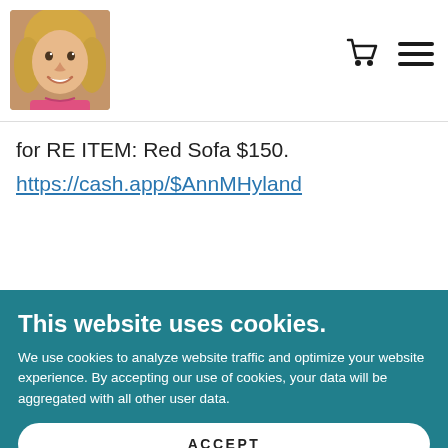[Figure (photo): Profile photo of a smiling woman with blonde hair in the top-left corner of the navigation bar]
Navigation bar with profile photo, cart icon, and hamburger menu icon
for RE ITEM: Red Sofa $150.
https://cash.app/$AnnMHyland
This website uses cookies.
We use cookies to analyze website traffic and optimize your website experience. By accepting our use of cookies, your data will be aggregated with all other user data.
ACCEPT